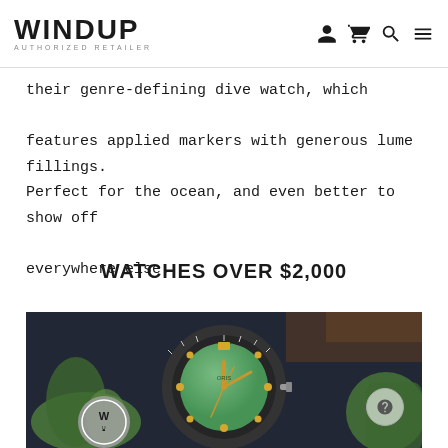WINDUP AUTHORIZED RETAILER
their genre-defining dive watch, which features applied markers with generous lume fillings. Perfect for the ocean, and even better to show off everywhere else.
WATCHES OVER $2,000
[Figure (photo): Close-up photo of an Oris dive watch with green dial, yellow gold-tone hands and hour markers, black bezel, on a dark background with green decorative objects]